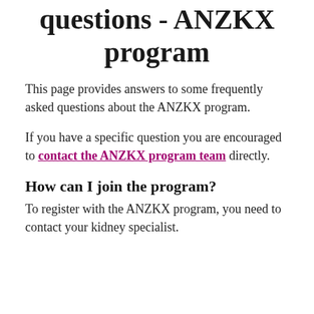questions - ANZKX program
This page provides answers to some frequently asked questions about the ANZKX program.
If you have a specific question you are encouraged to contact the ANZKX program team directly.
How can I join the program?
To register with the ANZKX program, you need to contact your kidney specialist.